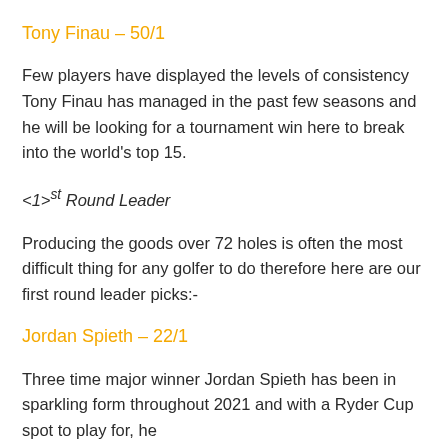Tony Finau – 50/1
Few players have displayed the levels of consistency Tony Finau has managed in the past few seasons and he will be looking for a tournament win here to break into the world's top 15.
1st Round Leader
Producing the goods over 72 holes is often the most difficult thing for any golfer to do therefore here are our first round leader picks:-
Jordan Spieth – 22/1
Three time major winner Jordan Spieth has been in sparkling form throughout 2021 and with a Ryder Cup spot to play for, he